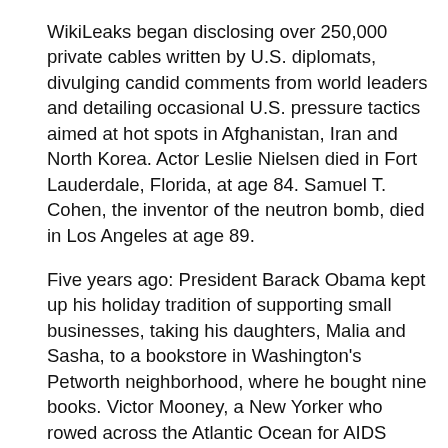WikiLeaks began disclosing over 250,000 private cables written by U.S. diplomats, divulging candid comments from world leaders and detailing occasional U.S. pressure tactics aimed at hot spots in Afghanistan, Iran and North Korea. Actor Leslie Nielsen died in Fort Lauderdale, Florida, at age 84. Samuel T. Cohen, the inventor of the neutron bomb, died in Los Angeles at age 89.
Five years ago: President Barack Obama kept up his holiday tradition of supporting small businesses, taking his daughters, Malia and Sasha, to a bookstore in Washington's Petworth neighborhood, where he bought nine books. Victor Mooney, a New Yorker who rowed across the Atlantic Ocean for AIDS awareness, arrived home in Brooklyn, ending a 21-month journey. Tyson Fury defeated Wladimir Klitschko by unanimous decision in Duesseldorf, Germany, to end the Ukrainian's nine-and-a-half-year reign as heavyweight champion and take his WBA, IBF, and WBO heavyweight titles. Marjorie Lord, 97, the Broadway and film actor who became a TV star on the sitcom “Make Room for Daddy,” died in Beverly Hills, California.
One year ago: President Donald Trump paid a surprise Thanksgiving visit to Afghanistan, where he announced that the U.S. and the Taliban had been engaged in peace talks, and said